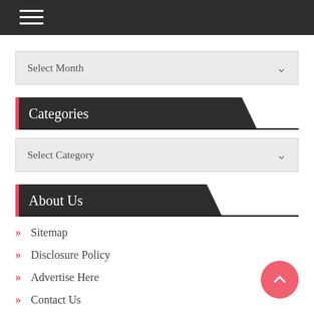Navigation menu (hamburger icon)
Select Month
Categories
Select Category
About Us
Sitemap
Disclosure Policy
Advertise Here
Contact Us